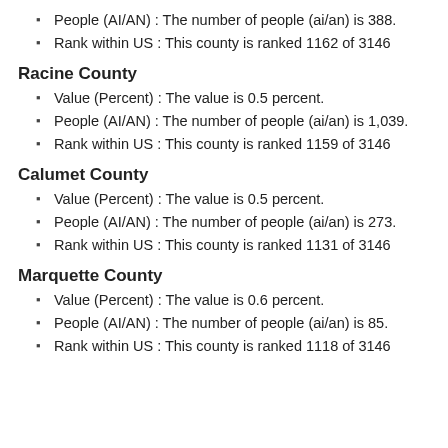People (AI/AN) : The number of people (ai/an) is 388.
Rank within US : This county is ranked 1162 of 3146
Racine County
Value (Percent) : The value is 0.5 percent.
People (AI/AN) : The number of people (ai/an) is 1,039.
Rank within US : This county is ranked 1159 of 3146
Calumet County
Value (Percent) : The value is 0.5 percent.
People (AI/AN) : The number of people (ai/an) is 273.
Rank within US : This county is ranked 1131 of 3146
Marquette County
Value (Percent) : The value is 0.6 percent.
People (AI/AN) : The number of people (ai/an) is 85.
Rank within US : This county is ranked 1118 of 3146